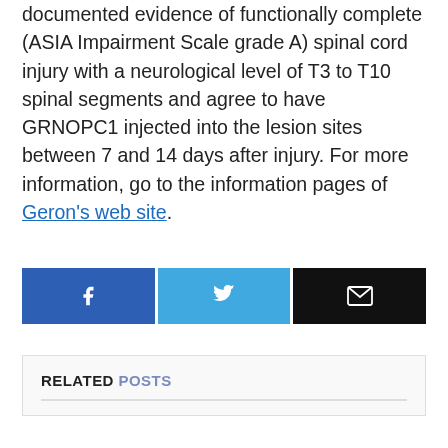documented evidence of functionally complete (ASIA Impairment Scale grade A) spinal cord injury with a neurological level of T3 to T10 spinal segments and agree to have GRNOPC1 injected into the lesion sites between 7 and 14 days after injury. For more information, go to the information pages of Geron's web site.
[Figure (infographic): Three social share buttons in a row: Facebook (dark blue with 'f' icon), Twitter (light blue with bird icon), Email (black with envelope icon)]
RELATED POSTS